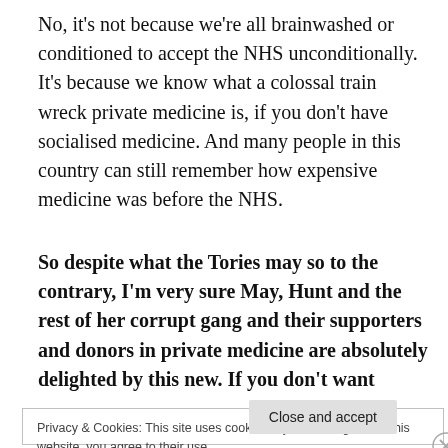No, it's not because we're all brainwashed or conditioned to accept the NHS unconditionally. It's because we know what a colossal train wreck private medicine is, if you don't have socialised medicine. And many people in this country can still remember how expensive medicine was before the NHS.
So despite what the Tories may so to the contrary, I'm very sure May, Hunt and the rest of her corrupt gang and their supporters and donors in private medicine are absolutely delighted by this new. If you don't want
Privacy & Cookies: This site uses cookies. By continuing to use this website, you agree to their use.
To find out more, including how to control cookies, see here: Cookie Policy
Close and accept